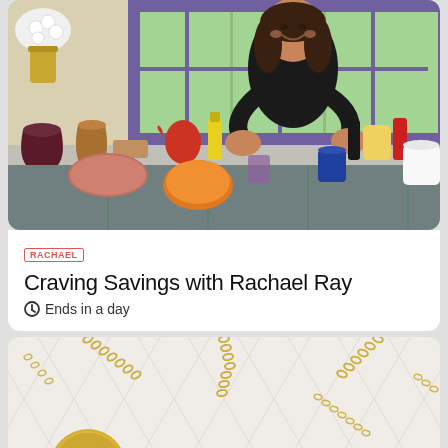[Figure (photo): Rachael Ray standing in a kitchen set, smiling and clapping, wearing a black outfit. Kitchen counter has various food items, condiments, and cooking ingredients. Background shows purple-framed windows with greenery.]
RACHAEL
Craving Savings with Rachael Ray
Ends in a day
[Figure (photo): Gold chain necklaces with circular disc pendants laid out on a white quilted surface, showing multiple necklaces at various angles.]